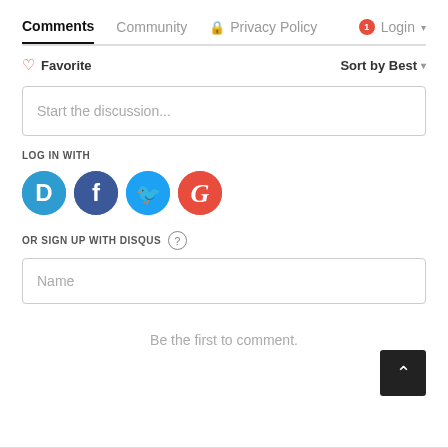Comments  Community  🔒 Privacy Policy  1  Login ▾
♡ Favorite     Sort by Best ▾
Start the discussion...
LOG IN WITH
[Figure (illustration): Social login icons: Disqus (blue D), Facebook (dark blue f), Twitter (light blue bird), Google (red G)]
OR SIGN UP WITH DISQUS ?
Name
Be the first to comment.